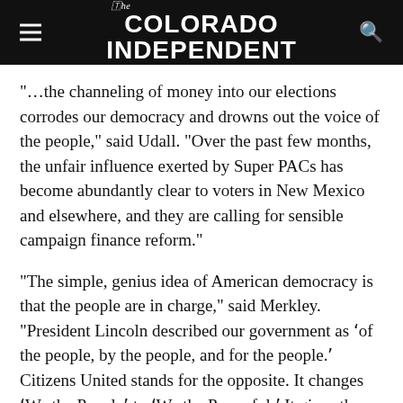The Colorado Independent
"…the channeling of money into our elections corrodes our democracy and drowns out the voice of the people," said Udall. "Over the past few months, the unfair influence exerted by Super PACs has become abundantly clear to voters in New Mexico and elsewhere, and they are calling for sensible campaign finance reform."
"The simple, genius idea of American democracy is that the people are in charge," said Merkley. "President Lincoln described our government as 'of the people, by the people, and for the people.' Citizens United stands for the opposite. It changes 'We the People' to 'We the Powerful'. It gives the wealthy and well-connected a stadium sound system, drowning out the voice of the people. We